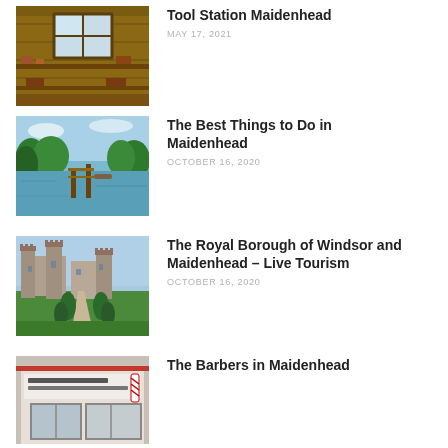[Figure (photo): Interior of a wooden workshop with a window and shelves]
Tool Station Maidenhead
MAY 17, 2021
[Figure (photo): River scene with a dock and green trees]
The Best Things to Do in Maidenhead
OCTOBER 16, 2020
[Figure (photo): Windsor Castle with a long tree-lined avenue]
The Royal Borough of Windsor and Maidenhead – Live Tourism
OCTOBER 16, 2020
[Figure (photo): Storefront of a barber shop with a sign reading Paceys Grooms Authentic Turkish Barbering]
The Barbers in Maidenhead